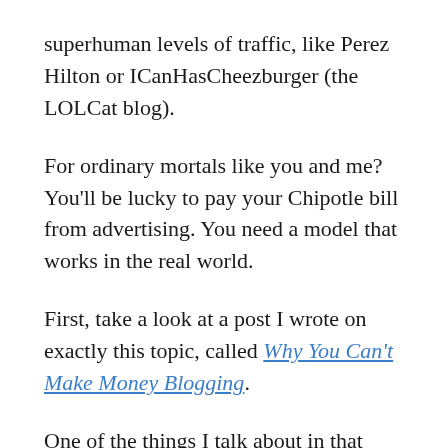superhuman levels of traffic, like Perez Hilton or ICanHasCheezburger (the LOLCat blog).
For ordinary mortals like you and me? You'll be lucky to pay your Chipotle bill from advertising. You need a model that works in the real world.
First, take a look at a post I wrote on exactly this topic, called Why You Can't Make Money Blogging.
One of the things I talk about in that post is